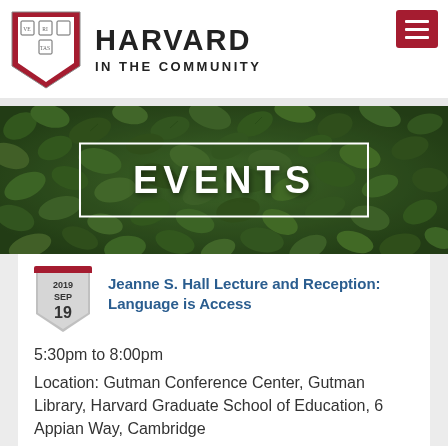[Figure (logo): Harvard shield logo with VERITAS motto in crimson and white]
HARVARD IN THE COMMUNITY
[Figure (photo): Banner photo of green ivy leaves with white-outlined box and text EVENTS in white bold letters]
Jeanne S. Hall Lecture and Reception: Language is Access
5:30pm to 8:00pm
Location: Gutman Conference Center, Gutman Library, Harvard Graduate School of Education, 6 Appian Way, Cambridge